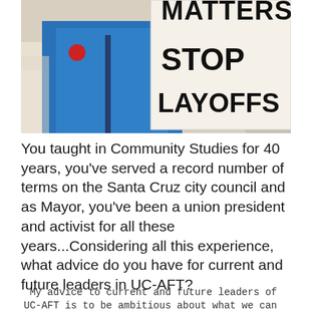[Figure (photo): A person in a blue t-shirt holding a protest sign that reads 'MATTERS STOP LAYOFFS' at an outdoor demonstration.]
You taught in Community Studies for 40 years, you've served a record number of terms on the Santa Cruz city council and as Mayor, you've been a union president and activist for all these years...Considering all this experience, what advice do you have for current and future leaders in UC-AFT?
My advice to current and future leaders of UC-AFT is to be ambitious about what we can achieve for our